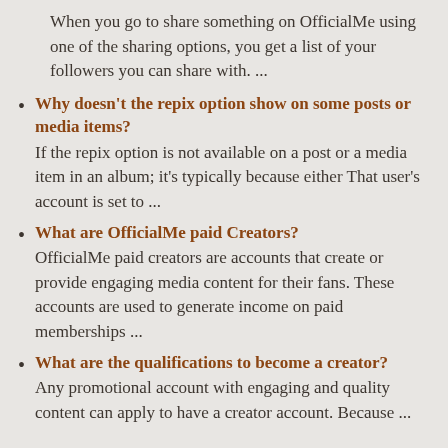When you go to share something on OfficialMe using one of the sharing options, you get a list of your followers you can share with. ...
Why doesn't the repix option show on some posts or media items?
If the repix option is not available on a post or a media item in an album; it's typically because either That user's account is set to ...
What are OfficialMe paid Creators?
OfficialMe paid creators are accounts that create or provide engaging media content for their fans. These accounts are used to generate income on paid memberships ...
What are the qualifications to become a creator?
Any promotional account with engaging and quality content can apply to have a creator account.  Because ...